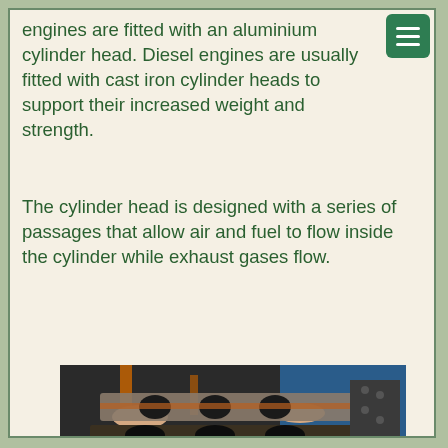engines are fitted with an aluminium cylinder head. Diesel engines are usually fitted with cast iron cylinder heads to support their increased weight and strength.
The cylinder head is designed with a series of passages that allow air and fuel to flow inside the cylinder while exhaust gases flow.
[Figure (photo): A mechanic in a dark uniform with orange accents holds up a metal cylinder head gasket. Below it is a darker, worn cylinder head or engine block with large circular holes. A blue background is visible.]